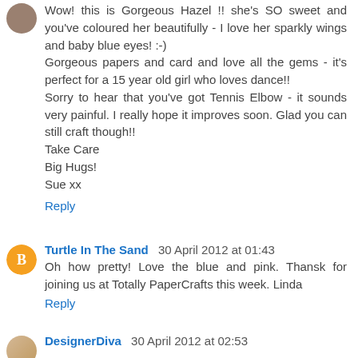[Figure (photo): Small avatar photo of a person, top-left corner]
Wow! this is Gorgeous Hazel !! she's SO sweet and you've coloured her beautifully - I love her sparkly wings and baby blue eyes! :-)
Gorgeous papers and card and love all the gems - it's perfect for a 15 year old girl who loves dance!!
Sorry to hear that you've got Tennis Elbow - it sounds very painful. I really hope it improves soon. Glad you can still craft though!!
Take Care
Big Hugs!
Sue xx
Reply
[Figure (logo): Orange circle avatar with blogger B icon]
Turtle In The Sand  30 April 2012 at 01:43
Oh how pretty! Love the blue and pink. Thansk for joining us at Totally PaperCrafts this week. Linda
Reply
[Figure (photo): Small avatar photo of a person, bottom-left]
DesignerDiva  30 April 2012 at 02:53